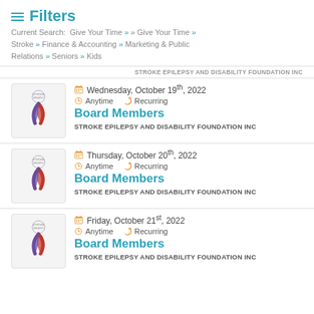Filters
Current Search: Give Your Time » » Give Your Time » Stroke » Finance & Accounting » Marketing & Public Relations » Seniors » Kids
STROKE EPILEPSY AND DISABILITY FOUNDATION INC
Wednesday, October 19th, 2022 | Anytime | Recurring | Board Members | STROKE EPILEPSY AND DISABILITY FOUNDATION INC
Thursday, October 20th, 2022 | Anytime | Recurring | Board Members | STROKE EPILEPSY AND DISABILITY FOUNDATION INC
Friday, October 21st, 2022 | Anytime | Recurring | Board Members | STROKE EPILEPSY AND DISABILITY FOUNDATION INC